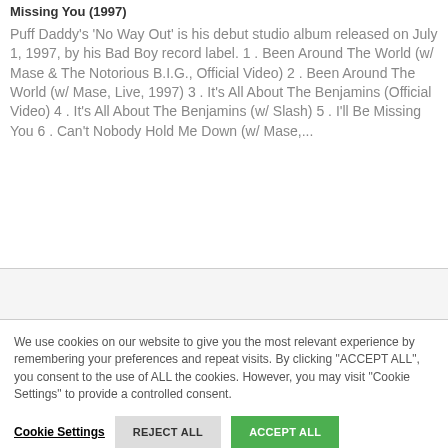Missing You (1997)
Puff Daddy's 'No Way Out' is his debut studio album released on July 1, 1997, by his Bad Boy record label. 1 . Been Around The World (w/ Mase & The Notorious B.I.G., Official Video) 2 . Been Around The World (w/ Mase, Live, 1997) 3 . It's All About The Benjamins (Official Video) 4 . It's All About The Benjamins (w/ Slash) 5 . I'll Be Missing You 6 . Can't Nobody Hold Me Down (w/ Mase,...
We use cookies on our website to give you the most relevant experience by remembering your preferences and repeat visits. By clicking "ACCEPT ALL", you consent to the use of ALL the cookies. However, you may visit "Cookie Settings" to provide a controlled consent.
Cookie Settings  REJECT ALL  ACCEPT ALL